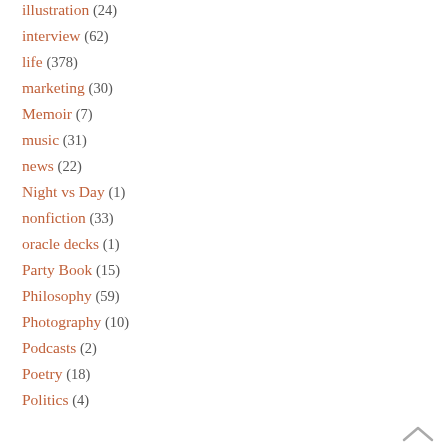illustration (24)
interview (62)
life (378)
marketing (30)
Memoir (7)
music (31)
news (22)
Night vs Day (1)
nonfiction (33)
oracle decks (1)
Party Book (15)
Philosophy (59)
Photography (10)
Podcasts (2)
Poetry (18)
Politics (4)